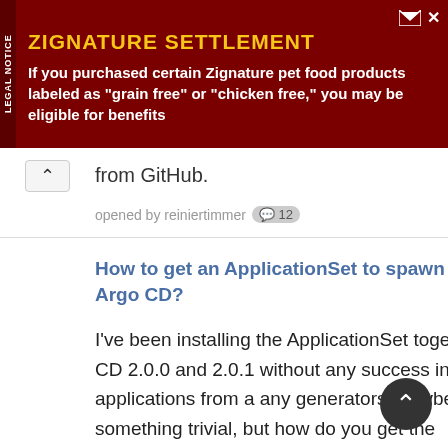[Figure (other): Advertisement banner for Zignature Settlement. Dark red background with yellow title 'ZIGNATURE SETTLEMENT' and white body text: 'If you purchased certain Zignature pet food products labeled as "grain free" or "chicken free," you may be eligible for benefits'. Vertical 'LEGAL NOTICE' label on left side.]
from GitHub.
opened by reiniertimmer 💬 12
How to get an ApplicationSet to spawn Applications in Argo CD?
I've been installing the ApplicationSet together with Argo CD 2.0.0 and 2.0.1 without any success in spawning applications from a any generators. Maybe I am missing something trivial, but how do you get the